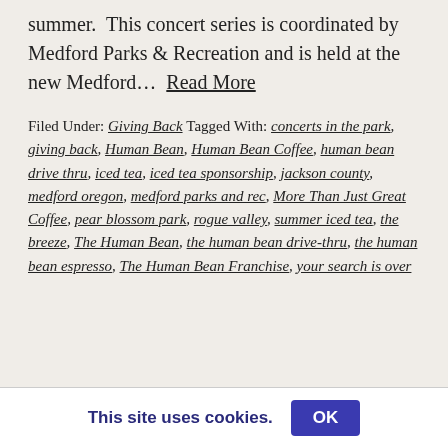summer.  This concert series is coordinated by Medford Parks & Recreation and is held at the new Medford… Read More
Filed Under: Giving Back Tagged With: concerts in the park, giving back, Human Bean, Human Bean Coffee, human bean drive thru, iced tea, iced tea sponsorship, jackson county, medford oregon, medford parks and rec, More Than Just Great Coffee, pear blossom park, rogue valley, summer iced tea, the breeze, The Human Bean, the human bean drive-thru, the human bean espresso, The Human Bean Franchise, your search is over
This site uses cookies. OK